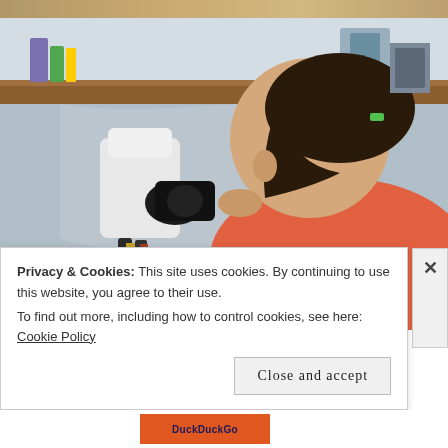[Figure (photo): Top strip showing partial image from previous content, brown/tan tones]
[Figure (photo): A young girl in a coral/orange shirt looking into a microscope in a laboratory or classroom setting. The microscope is white and black, positioned on a table. Background shows shelves with various items.]
Privacy & Cookies: This site uses cookies. By continuing to use this website, you agree to their use.
To find out more, including how to control cookies, see here: Cookie Policy
Close and accept
[Figure (screenshot): Bottom strip showing partial image with orange block and text 'BackBackGo']